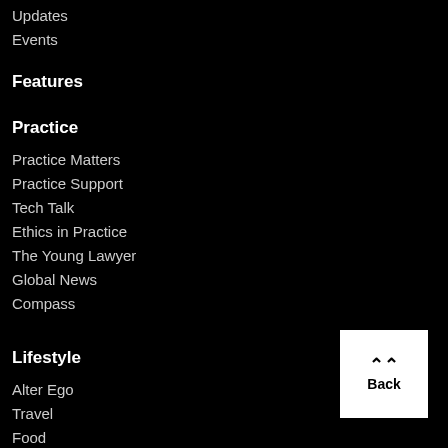Updates
Events
Features
Practice
Practice Matters
Practice Support
Tech Talk
Ethics in Practice
The Young Lawyer
Global News
Compass
Lifestyle
Alter Ego
Travel
Food